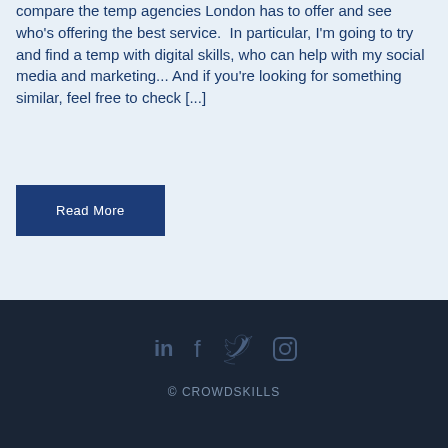compare the temp agencies London has to offer and see who's offering the best service.  In particular, I'm going to try and find a temp with digital skills, who can help with my social media and marketing... And if you're looking for something similar, feel free to check [...]
Read More
© CROWDSKILLS